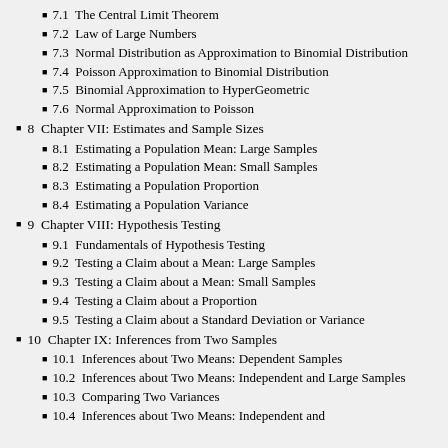7.1  The Central Limit Theorem
7.2  Law of Large Numbers
7.3  Normal Distribution as Approximation to Binomial Distribution
7.4  Poisson Approximation to Binomial Distribution
7.5  Binomial Approximation to HyperGeometric
7.6  Normal Approximation to Poisson
8  Chapter VII: Estimates and Sample Sizes
8.1  Estimating a Population Mean: Large Samples
8.2  Estimating a Population Mean: Small Samples
8.3  Estimating a Population Proportion
8.4  Estimating a Population Variance
9  Chapter VIII: Hypothesis Testing
9.1  Fundamentals of Hypothesis Testing
9.2  Testing a Claim about a Mean: Large Samples
9.3  Testing a Claim about a Mean: Small Samples
9.4  Testing a Claim about a Proportion
9.5  Testing a Claim about a Standard Deviation or Variance
10  Chapter IX: Inferences from Two Samples
10.1  Inferences about Two Means: Dependent Samples
10.2  Inferences about Two Means: Independent and Large Samples
10.3  Comparing Two Variances
10.4  Inferences about Two Means: Independent and ...